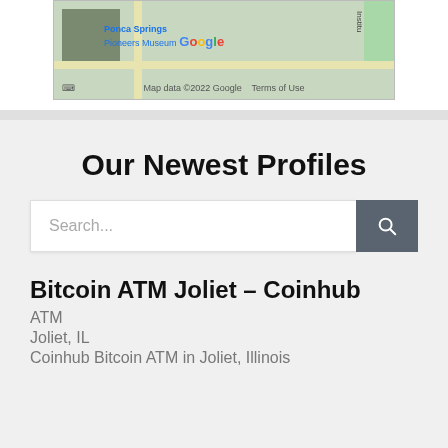[Figure (screenshot): Partial Google Maps screenshot showing Ponca Springs Pioneers Museum area with map data copyright 2022 Google and Terms of Use]
Our Newest Profiles
Search...
Bitcoin ATM Joliet – Coinhub
ATM
Joliet, IL
Coinhub Bitcoin ATM in Joliet, Illinois